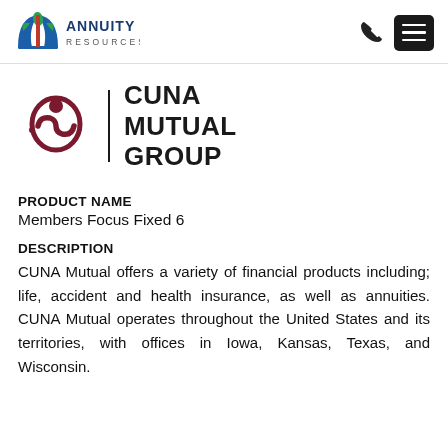[Figure (logo): Annuity Resources logo — open book with blue leaves and red book spine, text ANNUITY RESOURCES in dark blue]
[Figure (logo): CUNA Mutual Group logo — stylized figure icon in dark red/maroon, vertical divider bar, bold text CUNA MUTUAL GROUP]
PRODUCT NAME
Members Focus Fixed 6
DESCRIPTION
CUNA Mutual offers a variety of financial products including; life, accident and health insurance, as well as annuities. CUNA Mutual operates throughout the United States and its territories, with offices in Iowa, Kansas, Texas, and Wisconsin.